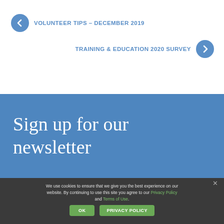VOLUNTEER TIPS – DECEMBER 2019
TRAINING & EDUCATION 2020 SURVEY
Sign up for our newsletter
We use cookies to ensure that we give you the best experience on our website. By continuing to use this site you agree to our Privacy Policy and Terms of Use.
OK
PRIVACY POLICY